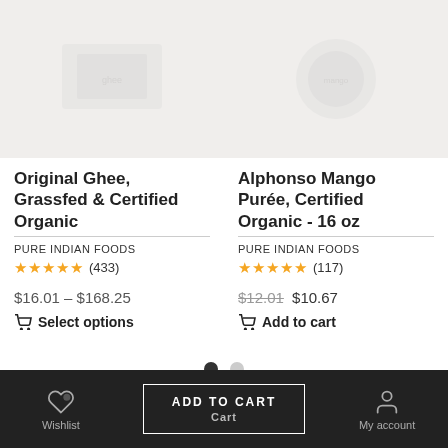[Figure (photo): Product image of Original Ghee, Grassfed & Certified Organic on light background]
[Figure (photo): Product image of Alphonso Mango Purée, Certified Organic on light background]
Original Ghee, Grassfed & Certified Organic
Alphonso Mango Purée, Certified Organic - 16 oz
PURE INDIAN FOODS
PURE INDIAN FOODS
★★★★★ (433)
★★★★★ (117)
$16.01 – $168.25
$12.01 $10.67
Select options
Add to cart
Wishlist
ADD TO CART
Cart
My account